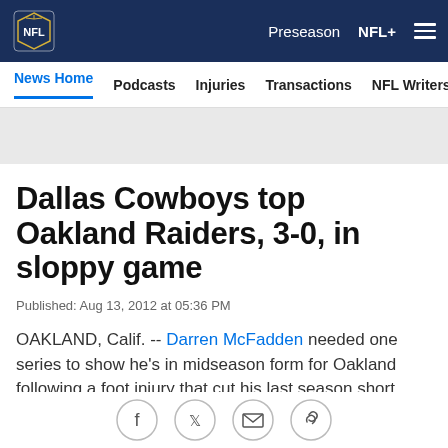NFL — Preseason  NFL+  ☰
News Home  Podcasts  Injuries  Transactions  NFL Writers  Se
Dallas Cowboys top Oakland Raiders, 3-0, in sloppy game
Published: Aug 13, 2012 at 05:36 PM
OAKLAND, Calif. -- Darren McFadden needed one series to show he's in midseason form for Oakland following a foot injury that cut his last season short.
McFadden picked up where he left off last season by